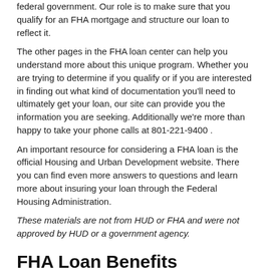federal government. Our role is to make sure that you qualify for an FHA mortgage and structure our loan to reflect it.
The other pages in the FHA loan center can help you understand more about this unique program. Whether you are trying to determine if you qualify or if you are interested in finding out what kind of documentation you'll need to ultimately get your loan, our site can provide you the information you are seeking. Additionally we're more than happy to take your phone calls at 801-221-9400 .
An important resource for considering a FHA loan is the official Housing and Urban Development website. There you can find even more answers to questions and learn more about insuring your loan through the Federal Housing Administration.
These materials are not from HUD or FHA and were not approved by HUD or a government agency.
FHA Loan Benefits
FHA insured mortgages are some of the best kinds of